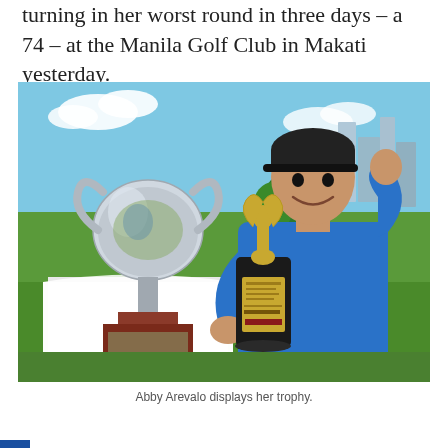turning in her worst round in three days – a 74 – at the Manila Golf Club in Makati yesterday.
[Figure (photo): Abby Arevalo holding a golf championship trophy (black cylinder with gold figurine on top) in her right hand and posing next to a large silver cup trophy on a table with white cloth, wearing a blue polo shirt and black cap, outdoors at a golf course with city buildings in background.]
Abby Arevalo displays her trophy.